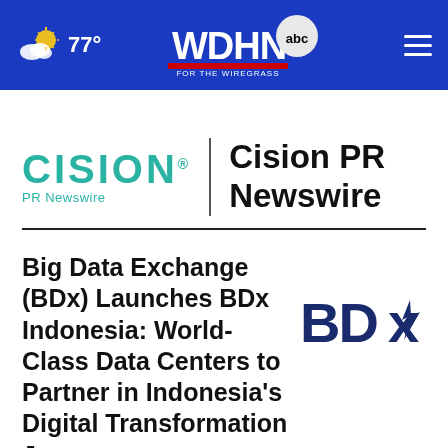77° | WDHN ABC FOR THE WIREGRASS
[Figure (logo): Cision PR Newswire logo with teal CISION text and vertical divider]
Big Data Exchange (BDx) Launches BDx Indonesia: World-Class Data Centers to Partner in Indonesia's Digital Transformation Journey
[Figure (logo): BDx logo in dark navy blue with stylized lightning bolt]